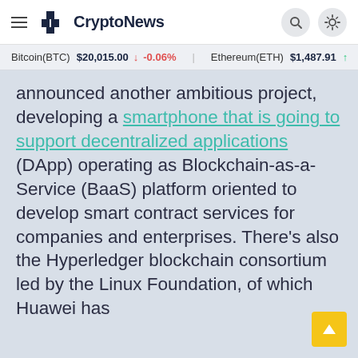CryptoNews
Bitcoin(BTC) $20,015.00 ↓ -0.06%   Ethereum(ETH) $1,487.91 ↑
announced another ambitious project, developing a smartphone that is going to support decentralized applications (DApp) operating as Blockchain-as-a-Service (BaaS) platform oriented to develop smart contract services for companies and enterprises. There's also the Hyperledger blockchain consortium led by the Linux Foundation, of which Huawei has